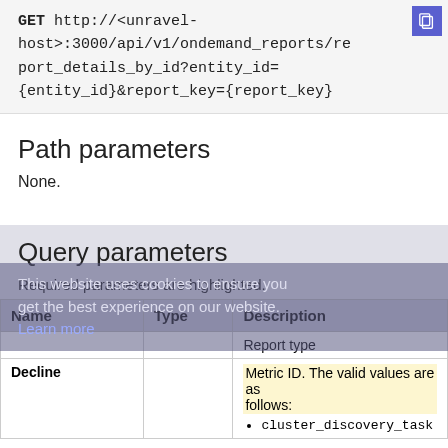GET http://<unravel-host>:3000/api/v1/ondemand_reports/report_details_by_id?entity_id={entity_id}&report_key={report_key}
Path parameters
None.
Query parameters
Required parameters are highlighted.
| Name | Type | Description |
| --- | --- | --- |
|  |  | Report type |
| Decline |  | Metric ID. The valid values are as follows:
• cluster_discovery_task |